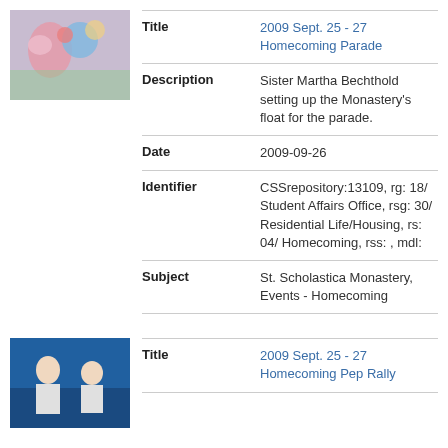[Figure (photo): Thumbnail photo of homecoming parade scene with colorful decorations]
| Title | 2009 Sept. 25 - 27 Homecoming Parade |
| Description | Sister Martha Bechthold setting up the Monastery's float for the parade. |
| Date | 2009-09-26 |
| Identifier | CSSrepository:13109, rg: 18/ Student Affairs Office, rsg: 30/ Residential Life/Housing, rs: 04/ Homecoming, rss: , mdl: |
| Subject | St. Scholastica Monastery, Events - Homecoming |
[Figure (photo): Thumbnail photo of two people at homecoming pep rally]
| Title | 2009 Sept. 25 - 27 Homecoming Pep Rally |